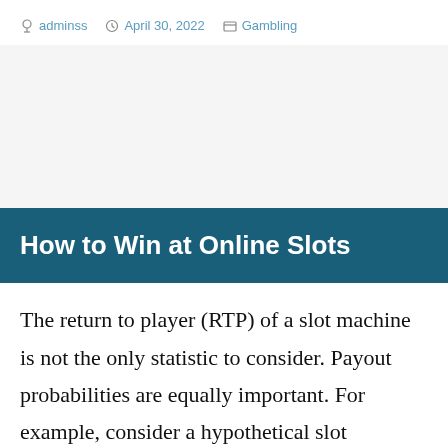adminss  April 30, 2022  Gambling
How to Win at Online Slots
The return to player (RTP) of a slot machine is not the only statistic to consider. Payout probabilities are equally important. For example, consider a hypothetical slot